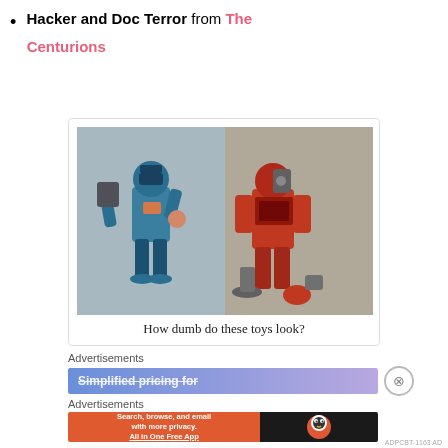Hacker and Doc Terror from The Centurions
[Figure (photo): Two action figures side by side: a blue Hacker figure on the left and a red Doc Terror figure on the right, both from The Centurions toy line]
How dumb do these toys look?
Advertisements
[Figure (screenshot): Advertisement banner with gradient blue/purple background showing 'Simplified pricing for' text]
Advertisements
[Figure (screenshot): DuckDuckGo advertisement: orange background with text 'Search, browse, and email with more privacy. All in One Free App' and DuckDuckGo logo on dark background]
ADPCBT-1163 AD